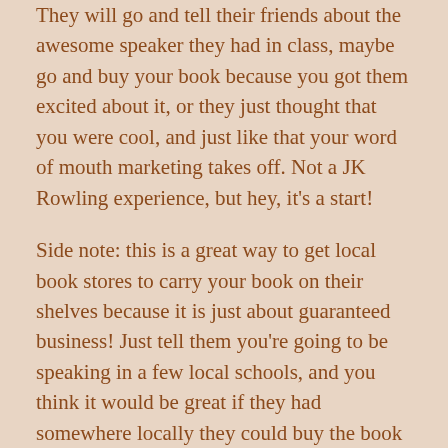They will go and tell their friends about the awesome speaker they had in class, maybe go and buy your book because you got them excited about it, or they just thought that you were cool, and just like that your word of mouth marketing takes off. Not a JK Rowling experience, but hey, it's a start!
Side note: this is a great way to get local book stores to carry your book on their shelves because it is just about guaranteed business! Just tell them you're going to be speaking in a few local schools, and you think it would be great if they had somewhere locally they could buy the book instead of ordering it off Amazon.
Example:
Say you don't write YA fiction, but you write romance novels. So your target audience is less the teenager,